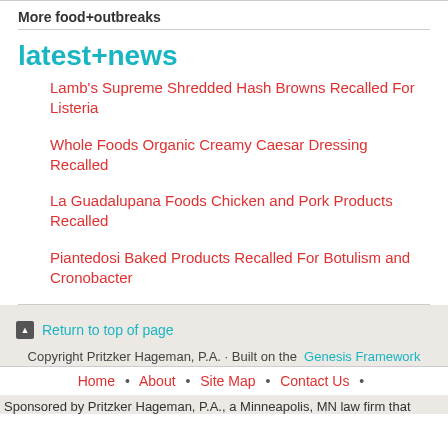More food+outbreaks
latest+news
Lamb's Supreme Shredded Hash Browns Recalled For Listeria
Whole Foods Organic Creamy Caesar Dressing Recalled
La Guadalupana Foods Chicken and Pork Products Recalled
Piantedosi Baked Products Recalled For Botulism and Cronobacter
Return to top of page
Copyright Pritzker Hageman, P.A. · Built on the Genesis Framework
Home • About • Site Map • Contact Us •
Sponsored by Pritzker Hageman, P.A., a Minneapolis, MN law firm that